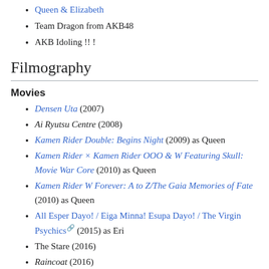Queen & Elizabeth
Team Dragon from AKB48
AKB Idoling !! !
Filmography
Movies
Densen Uta (2007)
Ai Ryutsu Centre (2008)
Kamen Rider Double: Begins Night (2009) as Queen
Kamen Rider × Kamen Rider OOO & W Featuring Skull: Movie War Core (2010) as Queen
Kamen Rider W Forever: A to Z/The Gaia Memories of Fate (2010) as Queen
All Esper Dayo! / Eiga Minna! Esupa Dayo! / The Virgin Psychics (2015) as Eri
The Stare (2016)
Raincoat (2016)
Dramas